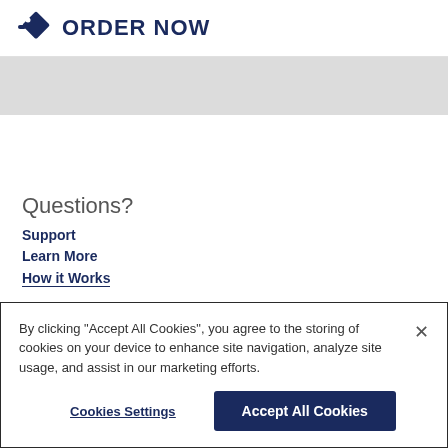ORDER NOW
Questions?
Support
Learn More
How it Works
By clicking “Accept All Cookies”, you agree to the storing of cookies on your device to enhance site navigation, analyze site usage, and assist in our marketing efforts.
Cookies Settings
Accept All Cookies